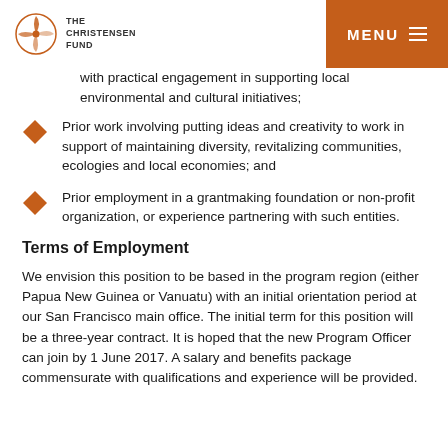THE CHRISTENSEN FUND | MENU
with practical engagement in supporting local environmental and cultural initiatives;
Prior work involving putting ideas and creativity to work in support of maintaining diversity, revitalizing communities, ecologies and local economies; and
Prior employment in a grantmaking foundation or non-profit organization, or experience partnering with such entities.
Terms of Employment
We envision this position to be based in the program region (either Papua New Guinea or Vanuatu) with an initial orientation period at our San Francisco main office. The initial term for this position will be a three-year contract. It is hoped that the new Program Officer can join by 1 June 2017. A salary and benefits package commensurate with qualifications and experience will be provided.